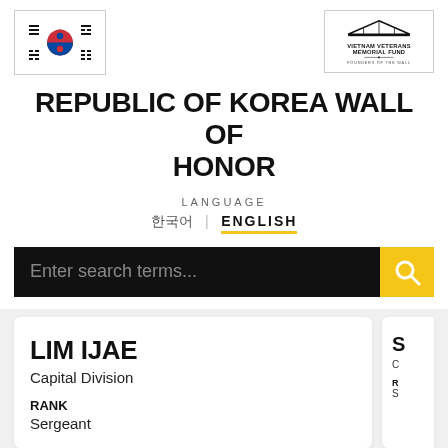[Figure (logo): South Korean flag (Taegukgi) in white bordered box]
[Figure (logo): Vietnam Veterans Memorial Fund - Founders of The Wall logo in white bordered box]
REPUBLIC OF KOREA WALL OF HONOR
LANGUAGE
한국어 | ENGLISH
Enter search terms...
LIM IJAE
Capital Division
RANK
Sergeant